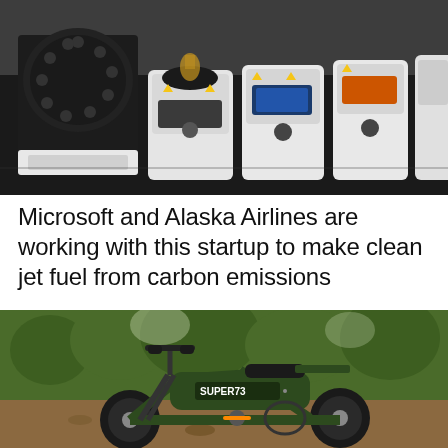[Figure (photo): Laboratory equipment — a row of white electronic balances or analytical instruments on a dark surface, with a black circular carousel/sample holder on the left.]
Microsoft and Alaska Airlines are working with this startup to make clean jet fuel from carbon emissions
[Figure (photo): A dark green Super73 electric moped-style bicycle parked on a dirt path in a wooded area with green trees in the background. The bike has fat tires, a low-slung frame, and 'SUPER73' branding on the battery pack.]